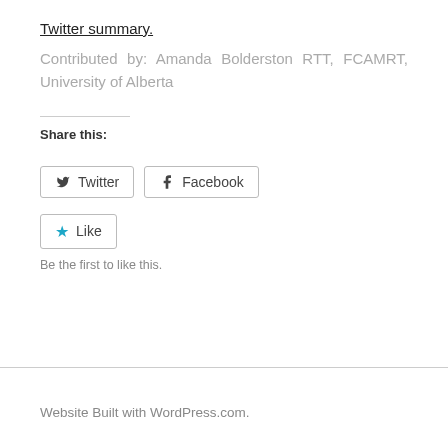Twitter summary.
Contributed by: Amanda Bolderston RTT, FCAMRT, University of Alberta
Share this:
[Figure (other): Twitter and Facebook share buttons, and a Like button with star icon]
Be the first to like this.
Website Built with WordPress.com.